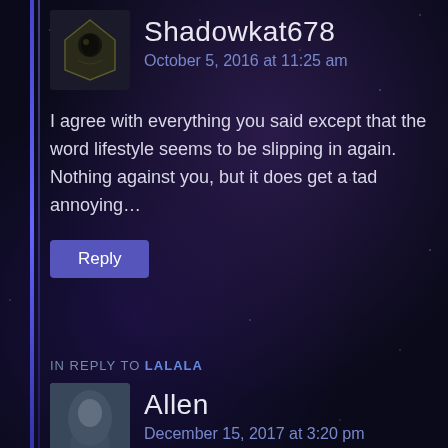Shadowkat678
October 5, 2016 at 11:25 am
I agree with everything you said except that the word lifestyle seems to be slipping in again. Nothing against you, but it does get a tad annoying...
Reply
IN REPLY TO LALALA
Allen
December 15, 2017 at 3:20 pm